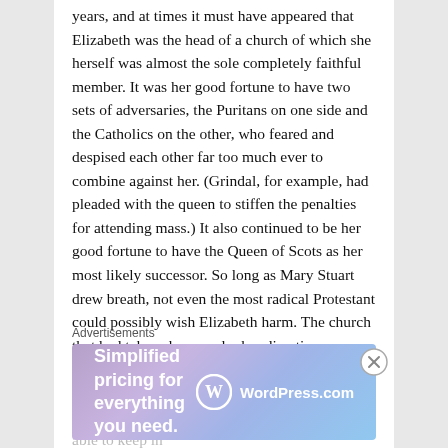years, and at times it must have appeared that Elizabeth was the head of a church of which she herself was almost the sole completely faithful member. It was her good fortune to have two sets of adversaries, the Puritans on one side and the Catholics on the other, who feared and despised each other far too much ever to combine against her. (Grindal, for example, had pleaded with the queen to stiffen the penalties for attending mass.) It also continued to be her good fortune to have the Queen of Scots as her most likely successor. So long as Mary Stuart drew breath, not even the most radical Protestant could possibly wish Elizabeth harm. The church that had taken shape under her direction was a peculiar and even improbable concoction of rather uncertain identity, no more Lutheran than Calvinist or Catholic. For the time being it was able to keep in
Advertisements
[Figure (infographic): WordPress.com advertisement banner with gradient purple-blue background. Text reads 'Simplified pricing for everything you need.' with WordPress.com logo on the right.]